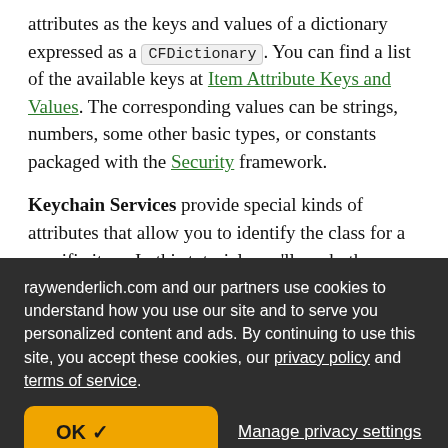attributes as the keys and values of a dictionary expressed as a CFDictionary. You can find a list of the available keys at Item Attribute Keys and Values. The corresponding values can be strings, numbers, some other basic types, or constants packaged with the Security framework.
Keychain Services provide special kinds of attributes that allow you to identify the class for a specific item. In this tutorial, you'll use both
raywenderlich.com and our partners use cookies to understand how you use our site and to serve you personalized content and ads. By continuing to use this site, you accept these cookies, our privacy policy and terms of service.